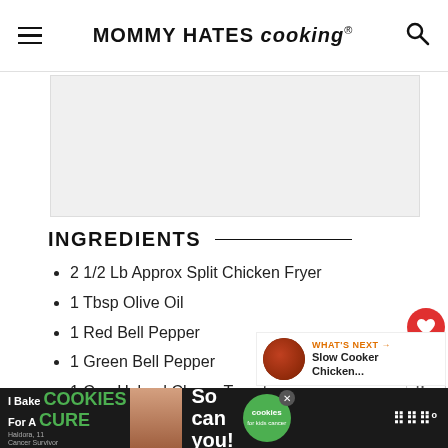MOMMY HATES cooking®
[Figure (photo): Food/recipe image placeholder area]
INGREDIENTS
2 1/2 Lb Approx Split Chicken Fryer
1 Tbsp Olive Oil
1 Red Bell Pepper
1 Green Bell Pepper
1 Cup Halved Cherry Tomatoes
1 Clove Crushed Garlic
1 Tbsp Chopped Basil
1 Tsp Dried Parsley
[Figure (screenshot): WHAT'S NEXT arrow - Slow Cooker Chicken... with thumbnail]
[Figure (screenshot): Advertisement banner: I Bake COOKIES For A CURE - Haldora, 11 Cancer Survivor - So can you! - cookies for kids cancer]